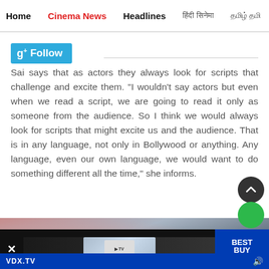Home  Cinema News  Headlines  [Hindi nav items]
[Figure (screenshot): Google+ Follow button in blue/cyan]
Sai says that as actors they always look for scripts that challenge and excite them. “I wouldn’t say actors but even when we read a script, we are going to read it only as someone from the audience. So I think we would always look for scripts that might excite us and the audience. That is in any language, not only in Bollywood or anything. Any language, even our own language, we would want to do something different all the time,” she informs.
[Figure (photo): Partially visible photo of people at bottom of page]
[Figure (screenshot): Best Buy advertisement banner at the bottom with VDX.TV branding]